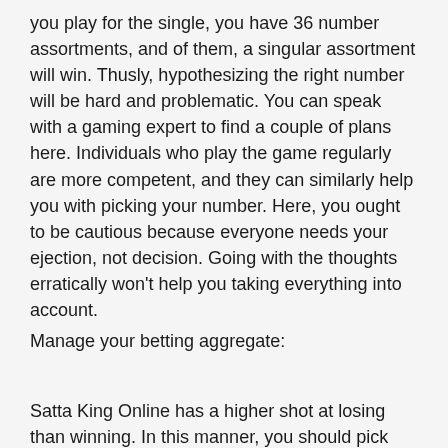you play for the single, you have 36 number assortments, and of them, a singular assortment will win. Thusly, hypothesizing the right number will be hard and problematic. You can speak with a gaming expert to find a couple of plans here. Individuals who play the game regularly are more competent, and they can similarly help you with picking your number. Here, you ought to be cautious because everyone needs your ejection, not decision. Going with the thoughts erratically won't help you taking everything into account.
Manage your betting aggregate:
Satta King Online has a higher shot at losing than winning. In this manner, you should pick